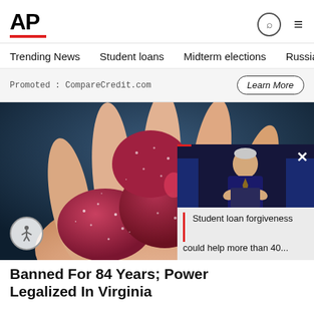AP
Trending News   Student loans   Midterm elections   Russia-Ukr
Promoted : CompareCredit.com
Learn More
[Figure (photo): Hand holding several red sugar-coated gummy candies against a dark blue background]
[Figure (photo): Video popup thumbnail showing a man in a suit speaking at a podium with American flags]
Student loan forgiveness could help more than 40...
Banned For 84 Years; Power Legalized In Virginia